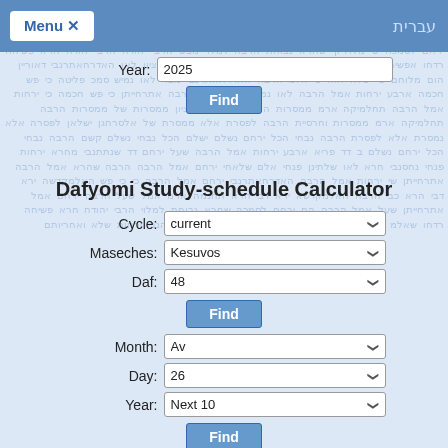Menu  עברית
Dafyomi Study-schedule Calculator
Cycle: current
Maseches: Kesuvos
Daf: 48
Find
Month: Av
Day: 26
Year: Next 10
Find
Month: Aug
Day: 23
Year: Next 10